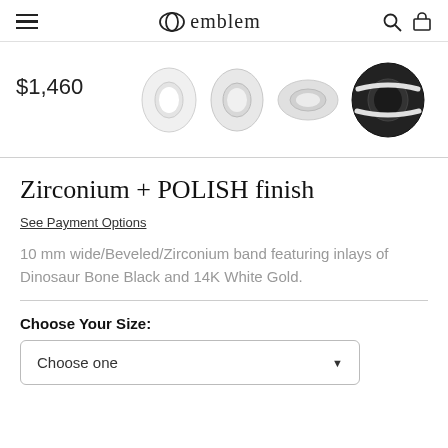emblem
[Figure (photo): Product images: three white/light zirconium ring thumbnails and one featured black zirconium ring with white gold inlay. Price shown: $1,460]
Zirconium + POLISH finish
See Payment Options
10 mm wide/Beveled/Zirconium band featuring inlays of Dinosaur Bone Black and 14K White Gold.
Choose Your Size:
Choose one